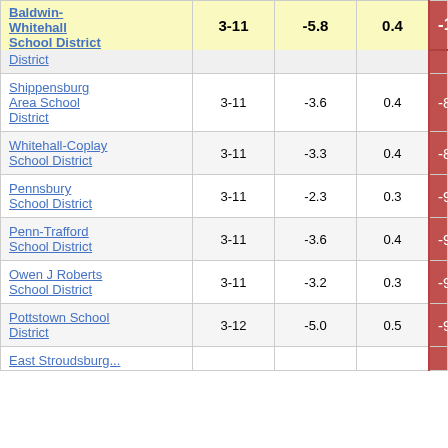| School District | Grades | Col3 | Col4 | Score |
| --- | --- | --- | --- | --- |
| Baldwin-Whitehall School District | 3-11 | -5.8 | 0.4 | -14.93 |
| District |  |  |  |  |
| Shippensburg Area School District | 3-11 | -3.6 | 0.4 | -8.90 |
| Whitehall-Coplay School District | 3-11 | -3.3 | 0.4 | -8.97 |
| Pennsbury School District | 3-11 | -2.3 | 0.3 | -9.26 |
| Penn-Trafford School District | 3-11 | -3.6 | 0.4 | -9.37 |
| Owen J Roberts School District | 3-11 | -3.2 | 0.3 | -9.54 |
| Pottstown School District | 3-12 | -5.0 | 0.5 | -9.86 |
| East Stroudsburg... |  |  |  |  |